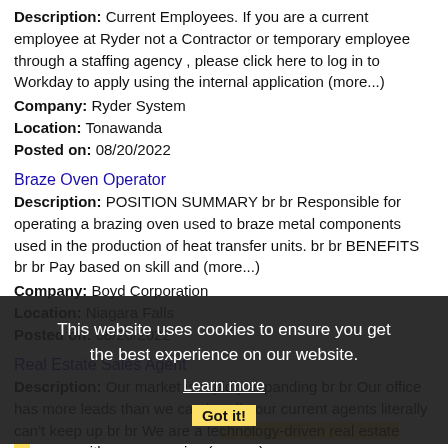Description: Current Employees. If you are a current employee at Ryder not a Contractor or temporary employee through a staffing agency , please click here to log in to Workday to apply using the internal application (more...)
Company: Ryder System
Location: Tonawanda
Posted on: 08/20/2022
Braze Oven Operator
Description: POSITION SUMMARY br br Responsible for operating a brazing oven used to braze metal components used in the production of heat transfer units. br br BENEFITS br br Pay based on skill and (more...)
Company: Boyd Corporation
Location: Niagara Falls
Posted on: 08/20/2022
Real Estate Sales Agent
Description: Our market is rapidly expanding br br Our office has more leads than we can handle our current agents literally can't keep up br br We are a technology-driven real estate company with an aggressive (more...)
Company: 716 Realty Group WNY
Location: Tonawanda
This website uses cookies to ensure you get the best experience on our website. Learn more Got it!